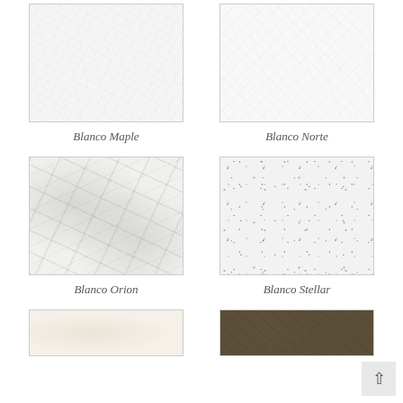[Figure (photo): Blanco Maple stone surface texture - very fine white/light gray veined pattern]
Blanco Maple
[Figure (photo): Blanco Norte stone surface texture - light white with fine line pattern]
Blanco Norte
[Figure (photo): Blanco Orion stone surface texture - white marble with dark gray veining]
Blanco Orion
[Figure (photo): Blanco Stellar stone surface texture - white with dark speckles]
Blanco Stellar
[Figure (photo): Partial view of a cream/off-white stone surface at bottom left]
[Figure (photo): Partial view of a dark brown granite stone surface at bottom right]